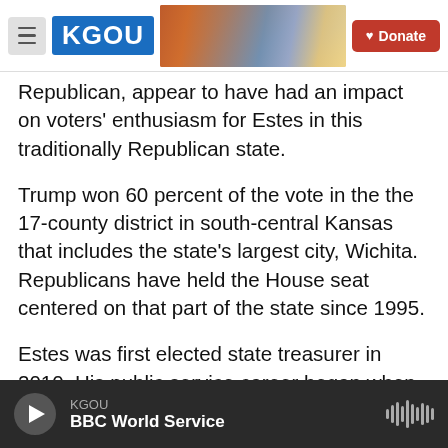KGOU [logo] Donate
Republican, appear to have had an impact on voters' enthusiasm for Estes in this traditionally Republican state.
Trump won 60 percent of the vote in the the 17-county district in south-central Kansas that includes the state's largest city, Wichita. Republicans have held the House seat centered on that part of the state since 1995.
Estes was first elected state treasurer in 2010. His public service career began when he served two terms as treasurer of Sedgwick County, which is home to Wichita. Estes also worked in the...
KGOU — BBC World Service [audio player]